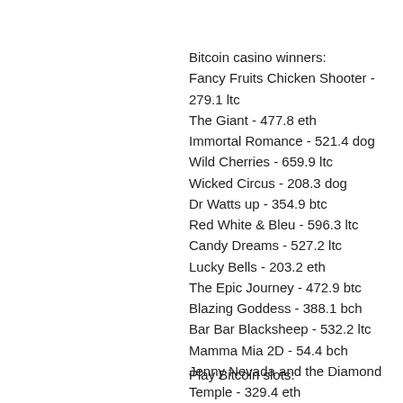Bitcoin casino winners:
Fancy Fruits Chicken Shooter - 279.1 ltc
The Giant - 477.8 eth
Immortal Romance - 521.4 dog
Wild Cherries - 659.9 ltc
Wicked Circus - 208.3 dog
Dr Watts up - 354.9 btc
Red White & Bleu - 596.3 ltc
Candy Dreams - 527.2 ltc
Lucky Bells - 203.2 eth
The Epic Journey - 472.9 btc
Blazing Goddess - 388.1 bch
Bar Bar Blacksheep - 532.2 ltc
Mamma Mia 2D - 54.4 bch
Jenny Nevada and the Diamond Temple - 329.4 eth
Girls with Guns Jungle Heat - 553 dog
Play Bitcoin slots: